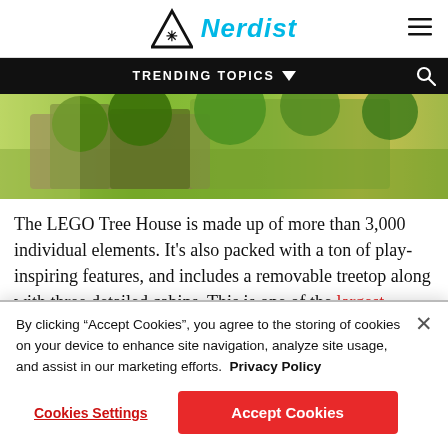Nerdist
TRENDING TOPICS
[Figure (photo): LEGO Tree House product box showing colorful treehouse set with green trees and forest scene]
The LEGO Tree House is made up of more than 3,000 individual elements. It's also packed with a ton of play-inspiring features, and includes a removable treetop along with three detailed cabins. This is one of the largest LEGO Ideas sets yet created, and maybe most
By clicking "Accept Cookies", you agree to the storing of cookies on your device to enhance site navigation, analyze site usage, and assist in our marketing efforts. Privacy Policy
Cookies Settings
Accept Cookies